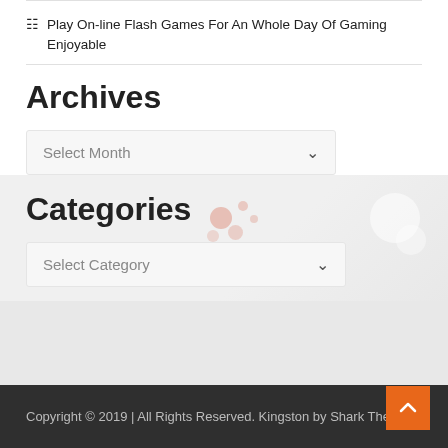Play On-line Flash Games For An Whole Day Of Gaming Enjoyable
Archives
Select Month
Categories
Select Category
Copyright © 2019 | All Rights Reserved. Kingston by Shark Themes